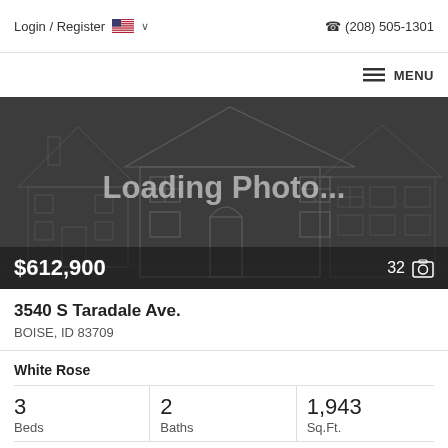Login / Register  🇺🇸 ∨    📞 (208) 505-1301
≡ MENU
[Figure (photo): Dark grey placeholder image showing a wireframe house outline with 'Loading Photo...' text overlay. Price $612,900 shown bottom left, photo count 32 shown bottom right.]
3540 S Taradale Ave.
BOISE, ID 83709
White Rose
3
Beds
2
Baths
1,943
Sq.Ft.